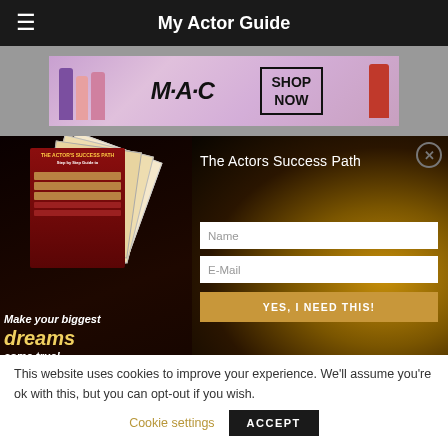My Actor Guide
[Figure (photo): MAC cosmetics advertisement showing lipsticks with SHOP NOW button]
[Figure (infographic): The Actors Success Path modal popup with book images, name and email fields, and YES, I NEED THIS! button]
This website uses cookies to improve your experience. We'll assume you're ok with this, but you can opt-out if you wish. Cookie settings ACCEPT